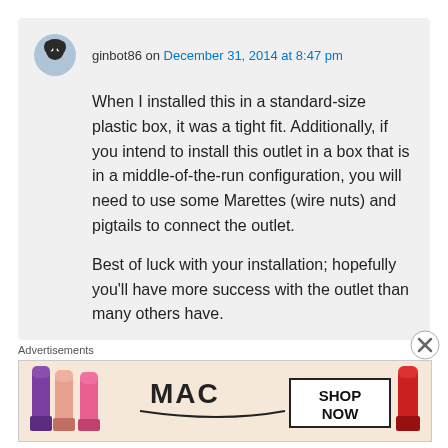ginbot86 on December 31, 2014 at 8:47 pm
When I installed this in a standard-size plastic box, it was a tight fit. Additionally, if you intend to install this outlet in a box that is in a middle-of-the-run configuration, you will need to use some Marettes (wire nuts) and pigtails to connect the outlet.
Best of luck with your installation; hopefully you'll have more success with the outlet than many others have.
Advertisements
[Figure (photo): MAC cosmetics advertisement showing lipsticks in purple, peach, and pink with MAC logo and SHOP NOW button]